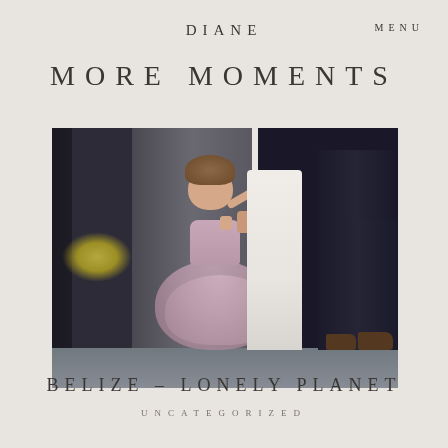DIANE
MENU
MORE MOMENTS
[Figure (photo): A small toddler girl in a pink/mauve tulle dress with a large flower at the waist, holding the hand of an adult in a white dress, with another adult in a dark suit visible on the right. The scene appears to be at a formal event, photographed outdoors on a paved surface.]
BELIZE – LONELY PLANET
UNCATEGORIZED